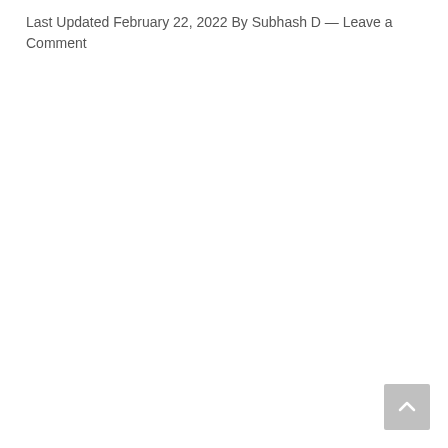Last Updated February 22, 2022 By Subhash D — Leave a Comment
[Figure (other): Scroll-to-top button with upward chevron arrow, grey rounded square background, positioned at bottom-right corner]